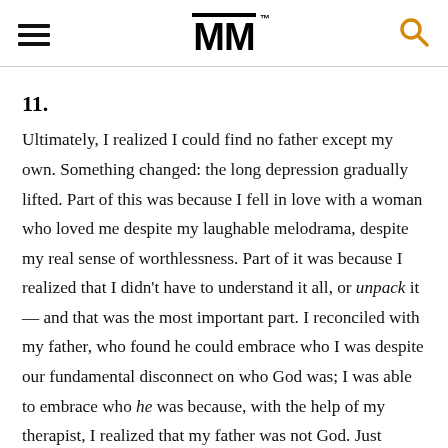MM
11.
Ultimately, I realized I could find no father except my own. Something changed: the long depression gradually lifted. Part of this was because I fell in love with a woman who loved me despite my laughable melodrama, despite my real sense of worthlessness. Part of it was because I realized that I didn't have to understand it all, or unpack it — and that was the most important part. I reconciled with my father, who found he could embrace who I was despite our fundamental disconnect on who God was; I was able to embrace who he was because, with the help of my therapist, I realized that my father was not God. Just because Roethke seemed to conflate the two in his